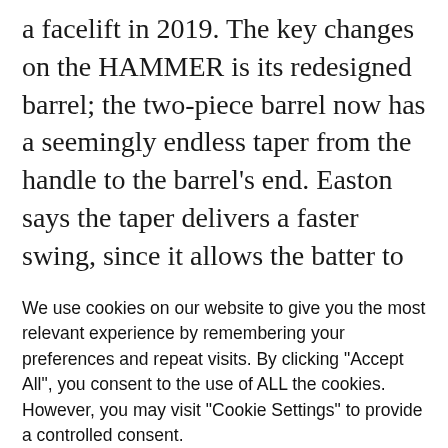a facelift in 2019. The key changes on the HAMMER is its redesigned barrel; the two-piece barrel now has a seemingly endless taper from the handle to the barrel's end. Easton says the taper delivers a faster swing, since it allows the batter to accelerate faster, and the new material used on the barrel's end also helps the bat's sweet spot last longer than previous
We use cookies on our website to give you the most relevant experience by remembering your preferences and repeat visits. By clicking "Accept All", you consent to the use of ALL the cookies. However, you may visit "Cookie Settings" to provide a controlled consent.
Cookie Settings | Accept All